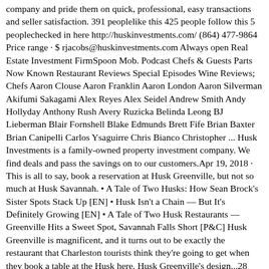company and pride them on quick, professional, easy transactions and seller satisfaction. 391 peoplelike this 425 people follow this 5 peoplechecked in here http://huskinvestments.com/ (864) 477-9864 Price range · $ rjacobs@huskinvestments.com Always open Real Estate Investment FirmSpoon Mob. Podcast Chefs & Guests Parts Now Known Restaurant Reviews Special Episodes Wine Reviews; Chefs Aaron Clouse Aaron Franklin Aaron London Aaron Silverman Akifumi Sakagami Alex Reyes Alex Seidel Andrew Smith Andy Hollyday Anthony Rush Avery Ruzicka Belinda Leong BJ Lieberman Blair Fornshell Blake Edmunds Brett Fife Brian Baxter Brian Canipelli Carlos Ysaguirre Chris Bianco Christopher ... Husk Investments is a family-owned property investment company. We find deals and pass the savings on to our customers.Apr 19, 2018 · This is all to say, book a reservation at Husk Greenville, but not so much at Husk Savannah. • A Tale of Two Husks: How Sean Brock's Sister Spots Stack Up [EN] • Husk Isn't a Chain — But It's Definitely Growing [EN] • A Tale of Two Husk Restaurants — Greenville Hits a Sweet Spot, Savannah Falls Short [P&C] Husk Greenville is magnificent, and it turns out to be exactly the restaurant that Charleston tourists think they're going to get when they book a table at the Husk here. Husk Greenville's design...28 reviews vip Dined on March 14, 2020 overall 3food 3service 5ambience 5 The service was wonderful! Sam was our waiter and we did not want for anything. I was disappointed in some of the food. I ordered the fried chicken and it was way over breaded and over cooked. The chicken was dry and tough. My